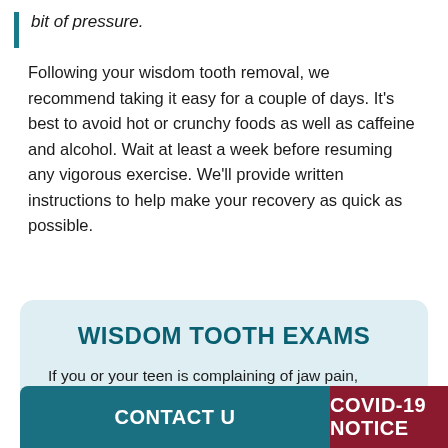bit of pressure.
Following your wisdom tooth removal, we recommend taking it easy for a couple of days. It’s best to avoid hot or crunchy foods as well as caffeine and alcohol. Wait at least a week before resuming any vigorous exercise. We’ll provide written instructions to help make your recovery as quick as possible.
WISDOM TOOTH EXAMS
If you or your teen is complaining of jaw pain, pressure or soreness in the back of the mouth, reserve an exam with our oral surgeon today.
CONTACT U
COVID-19 NOTICE